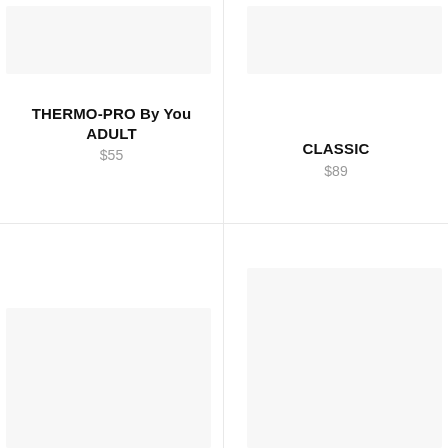[Figure (photo): Product image placeholder for THERMO-PRO By You ADULT, light gray background]
THERMO-PRO By You ADULT
$55
[Figure (photo): Product image placeholder for CLASSIC, light gray background]
CLASSIC
$89
[Figure (photo): Product image placeholder bottom-left, light gray background]
[Figure (photo): Product image placeholder bottom-right, light gray background]